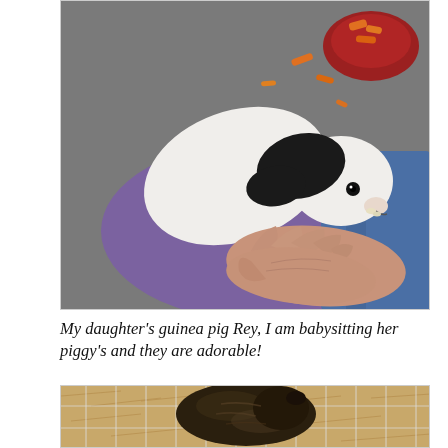[Figure (photo): A white and black guinea pig being hand-fed, sitting on a purple cloth on a grey surface. A red bowl with carrots and scattered carrot pieces visible in the background. Person in blue jeans visible at right.]
My daughter's guinea pig Rey, I am babysitting her piggy's and they are adorable!
[Figure (photo): A dark-colored guinea pig seen from above inside a wire cage with hay/straw bedding visible.]